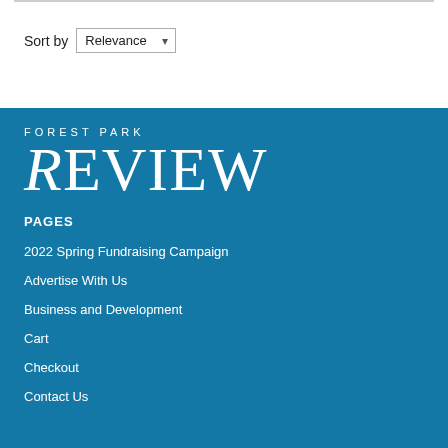Sort by Relevance
PAGES
2022 Spring Fundraising Campaign
Advertise With Us
Business and Development
Cart
Checkout
Contact Us